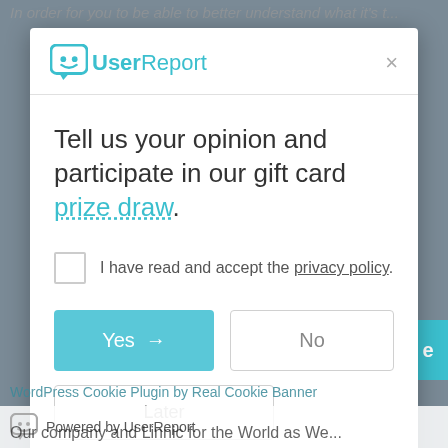[Figure (screenshot): UserReport modal dialog with logo, close button, survey invitation text with prize draw link, privacy policy checkbox, Yes/No/Later buttons, and Powered by UserReport footer bar.]
Tell us your opinion and participate in our gift card prize draw.
I have read and accept the privacy policy.
Yes
No
Later
Powered by UserReport